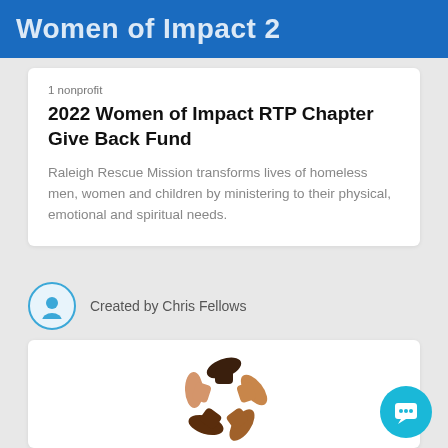Women of Impact 2
1 nonprofit
2022 Women of Impact RTP Chapter Give Back Fund
Raleigh Rescue Mission transforms lives of homeless men, women and children by ministering to their physical, emotional and spiritual needs.
Created by Chris Fellows
[Figure (logo): CBP Connected Black Professionals logo with diverse hands forming a circle]
CBP Connected Black Professionals